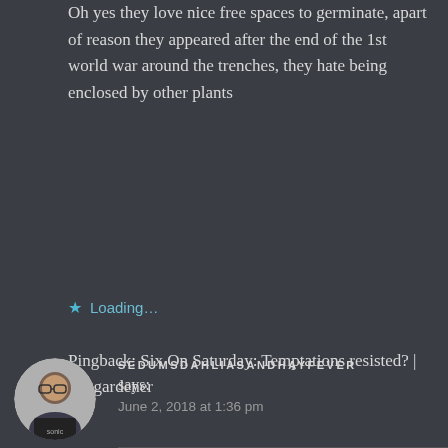Oh yes they love nice free spaces to germinate, apart of reason they appeared after the end of the 1st world war around the trenches, they hate being enclosed by other plants
★ Loading…
Pingback: Six On Saturday: Temptations resisted? | n2ogardener
[Figure (photo): Circular avatar photo of a young man wearing glasses]
SEDUMSDAHLIASANDHAYFEVER says: June 2, 2018 at 1:36 pm